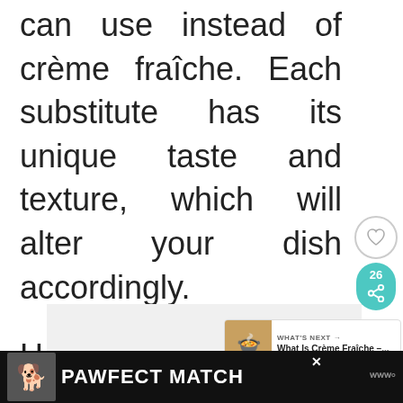can use instead of crème fraîche. Each substitute has its unique taste and texture, which will alter your dish accordingly.

Here are my most favorite crème fraîche substitutes that you can use in your dishes:
[Figure (screenshot): Social media sidebar with heart/like button showing heart icon, share pill in teal showing count 26 and share icon, and a 'What's Next' recommendation card showing 'What Is Crème Fraîche –...' with a food image thumbnail]
[Figure (screenshot): Advertisement banner at bottom showing a dog image on dark background with text 'PAWFECT MATCH' in white bold letters, with a close button and a logo on the right]